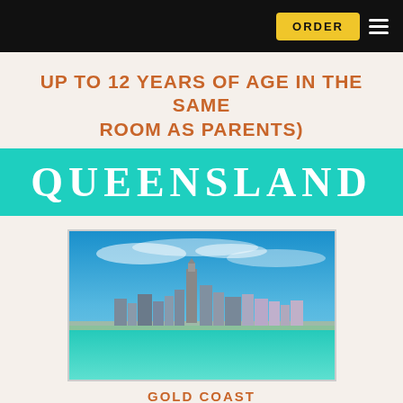ORDER
UP TO 12 YEARS OF AGE IN THE SAME ROOM AS PARENTS)
QUEENSLAND
[Figure (photo): Aerial/water-level photo of Gold Coast skyline with turquoise ocean water in foreground and blue sky with clouds above]
GOLD COAST